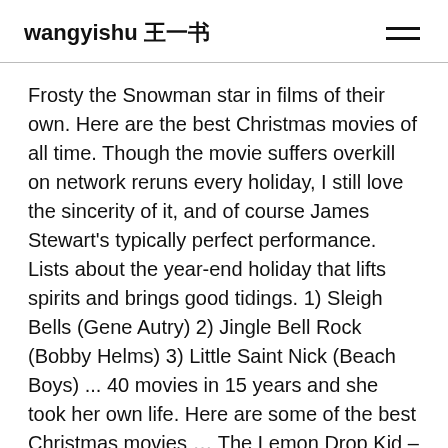wangyishu 王一书
Frosty the Snowman star in films of their own. Here are the best Christmas movies of all time. Though the movie suffers overkill on network reruns every holiday, I still love the sincerity of it, and of course James Stewart's typically perfect performance. Lists about the year-end holiday that lifts spirits and brings good tidings. 1) Sleigh Bells (Gene Autry) 2) Jingle Bell Rock (Bobby Helms) 3) Little Saint Nick (Beach Boys) ... 40 movies in 15 years and she took her own life. Here are some of the best Christmas movies … The Lemon Drop Kid – 1951: directed by Sidney Lanfield and